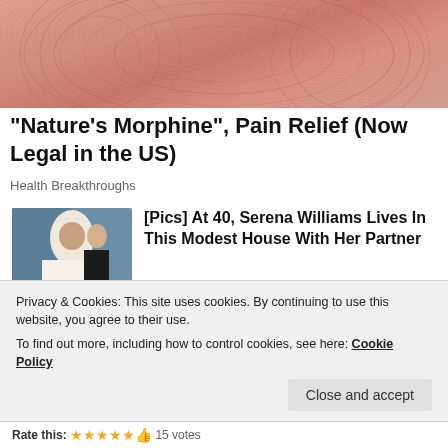[Figure (photo): Close-up photo of fingertips with visible fingerprint ridges, pinkish skin tone]
"Nature's Morphine", Pain Relief (Now Legal in the US)
Health Breakthroughs
[Figure (photo): Photo of a couple dressed formally, woman in white wedding dress, man in tuxedo, seated on a blue sofa]
[Pics] At 40, Serena Williams Lives In This Modest House With Her Partner
BuzzFond
[Figure (photo): Partial photo showing fruits/vegetables, green and orange tones]
[Pics] What Obama's Home
Privacy & Cookies: This site uses cookies. By continuing to use this website, you agree to their use.
To find out more, including how to control cookies, see here: Cookie Policy
Rate this: 15 votes